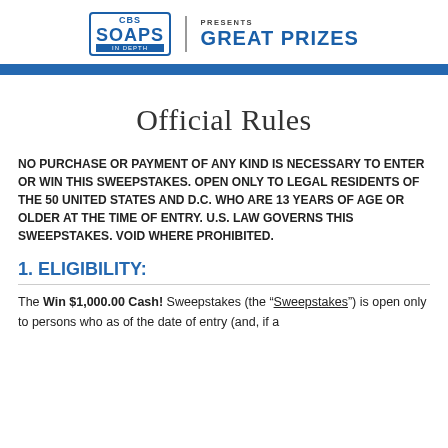CBS SOAPS IN DEPTH | PRESENTS GREAT PRIZES
Official Rules
NO PURCHASE OR PAYMENT OF ANY KIND IS NECESSARY TO ENTER OR WIN THIS SWEEPSTAKES. OPEN ONLY TO LEGAL RESIDENTS OF THE 50 UNITED STATES AND D.C. WHO ARE 13 YEARS OF AGE OR OLDER AT THE TIME OF ENTRY. U.S. LAW GOVERNS THIS SWEEPSTAKES. VOID WHERE PROHIBITED.
1. ELIGIBILITY:
The Win $1,000.00 Cash! Sweepstakes (the “Sweepstakes”) is open only to persons who as of the date of entry (and, if a